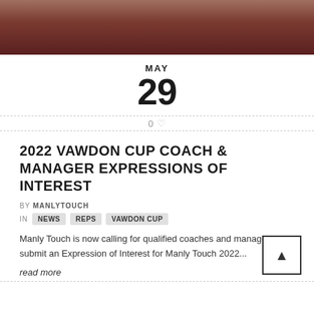[Figure (photo): Top portion of a person wearing a dark red/maroon sports jersey, partial torso and arms visible, outdoor background]
MAY
29
0 ♡
2022 VAWDON CUP COACH & MANAGER EXPRESSIONS OF INTEREST
BY MANLYTOUCH
IN NEWS REPS VAWDON CUP
Manly Touch is now calling for qualified coaches and managers to submit an Expression of Interest for Manly Touch 2022...
read more